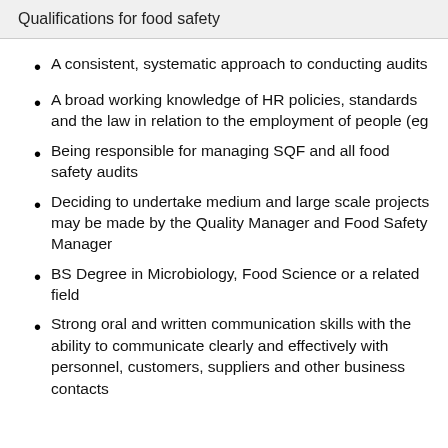Qualifications for food safety
A consistent, systematic approach to conducting audits
A broad working knowledge of HR policies, standards and the law in relation to the employment of people (eg
Being responsible for managing SQF and all food safety audits
Deciding to undertake medium and large scale projects may be made by the Quality Manager and Food Safety Manager
BS Degree in Microbiology, Food Science or a related field
Strong oral and written communication skills with the ability to communicate clearly and effectively with personnel, customers, suppliers and other business contacts